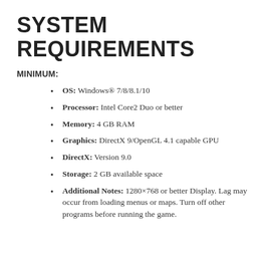SYSTEM REQUIREMENTS
MINIMUM:
OS: Windows® 7/8/8.1/10
Processor: Intel Core2 Duo or better
Memory: 4 GB RAM
Graphics: DirectX 9/OpenGL 4.1 capable GPU
DirectX: Version 9.0
Storage: 2 GB available space
Additional Notes: 1280×768 or better Display. Lag may occur from loading menus or maps. Turn off other programs before running the game.